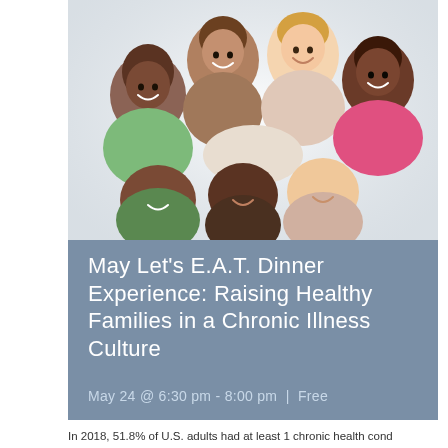[Figure (photo): Group of diverse smiling children looking down at camera in a huddle circle]
May Let's E.A.T. Dinner Experience: Raising Healthy Families in a Chronic Illness Culture
May 24 @ 6:30 pm - 8:00 pm  |  Free
In 2018, 51.8% of U.S. adults had at least 1 chronic health cond